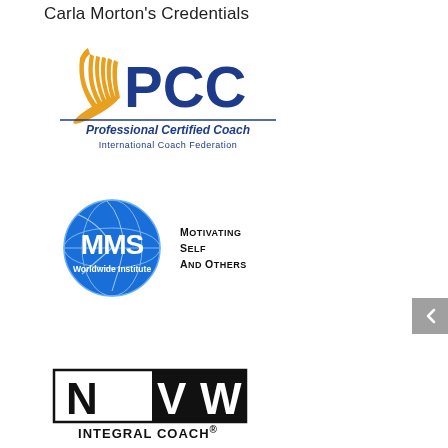Carla Morton's Credentials
[Figure (logo): ICF PCC Professional Certified Coach logo — gold fan/leaf graphic with blue PCC text, bold italic 'Professional Certified Coach' in blue, thin blue line, 'International Coach Federation' in smaller blue text]
[Figure (logo): MMS Worldwide Institute logo — circular globe badge with 'Motivation Management Service' arc text, 'MMS' in large letters, 'Worldwide Institute' below, blue globe, next to text 'Motivating Self and Others' in small caps]
[Figure (logo): NVW Integral Coach logo — black and white rectangular logo with 'N', 'V', 'W' letters, bold black triangle/chevron background on V and W, 'INTEGRAL COACH®' text below]